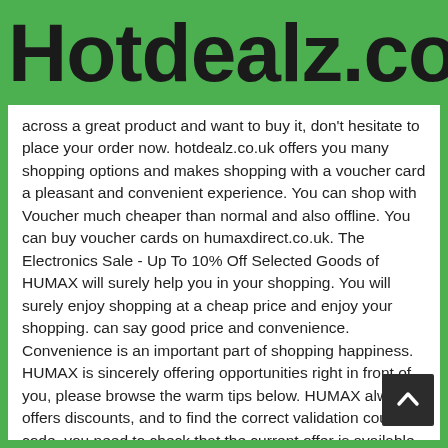Hotdealz.co.uk
across a great product and want to buy it, don't hesitate to place your order now. hotdealz.co.uk offers you many shopping options and makes shopping with a voucher card a pleasant and convenient experience. You can shop with Voucher much cheaper than normal and also offline. You can buy voucher cards on humaxdirect.co.uk. The Electronics Sale - Up To 10% Off Selected Goods of HUMAX will surely help you in your shopping. You will surely enjoy shopping at a cheap price and enjoy your shopping. can say good price and convenience. Convenience is an important part of shopping happiness. HUMAX is sincerely offering opportunities right in front of you, please browse the warm tips below. HUMAX always offers discounts, and to find the correct validation coupon code, you need to check that the current offer is available. The latest numeric codes are at the top of the page and the most popular discount codes are marked for edit selection. You can browse WIRED for the latest validation discount code to see all the available offers.